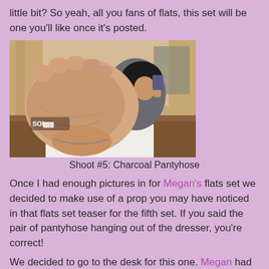little bit? So yeah, all you fans of flats, this set will be one you'll like once it's posted.
[Figure (photo): Close-up photo of a woman's bare foot sole thrust toward camera, woman visible in background reclining at a desk in a room with curtains]
Shoot #5: Charcoal Pantyhose
Once I had enough pictures in for Megan's flats set we decided to make use of a prop you may have noticed in that flats set teaser for the fifth set. If you said the pair of pantyhose hanging out of the dresser, you're correct!
We decided to go to the desk for this one. Megan had